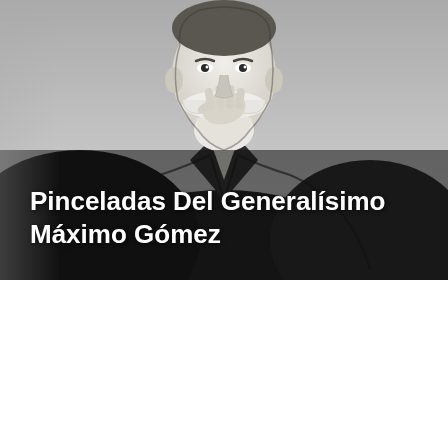[Figure (illustration): Black and white illustration / caricature of a man (Generalísimo Máximo Gómez) in a dark jacket with a large white mustache and beard, hand raised near his chin, drawn in ink wash style. The background fades from gray at top to lighter gray toward the bottom.]
Pinceladas Del Generalísimo Máximo Gómez